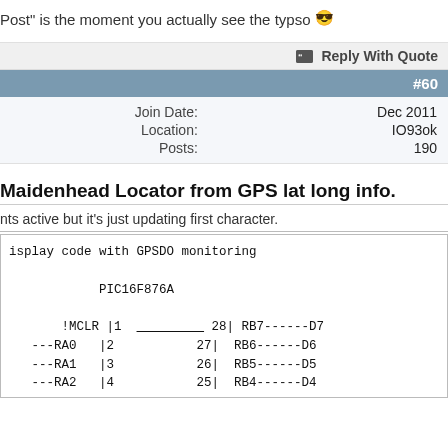Post" is the moment you actually see the typso 😎
Reply With Quote
#60
| Label | Value |
| --- | --- |
| Join Date: | Dec 2011 |
| Location: | IO93ok |
| Posts: | 190 |
Maidenhead Locator from GPS lat long info.
nts active but it's just updating first character.
isplay code with GPSDO monitoring

            PIC16F876A

       !MCLR |1  ________  28| RB7------D7
   ---RA0   |2           27|  RB6------D6
   ---RA1   |3           26|  RB5------D5
   ---RA2   |4           25|  RB4------D4